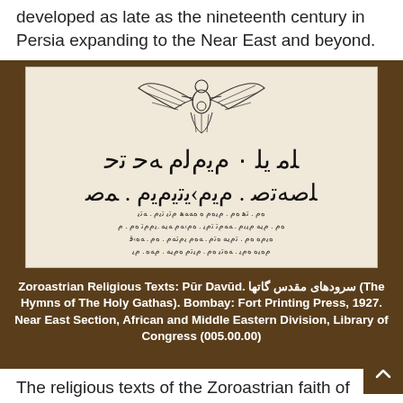developed as late as the nineteenth century in Persia expanding to the Near East and beyond.
[Figure (photo): Scan of a Zoroastrian religious manuscript page with Avestan/Pahlavi script text and a Faravahar (winged figure) symbol at the top.]
Zoroastrian Religious Texts: Pūr Davūd. سرودهای مقدس گاتها (The Hymns of The Holy Gathas). Bombay: Fort Printing Press, 1927. Near East Section, African and Middle Eastern Division, Library of Congress (005.00.00)
The religious texts of the Zoroastrian faith of